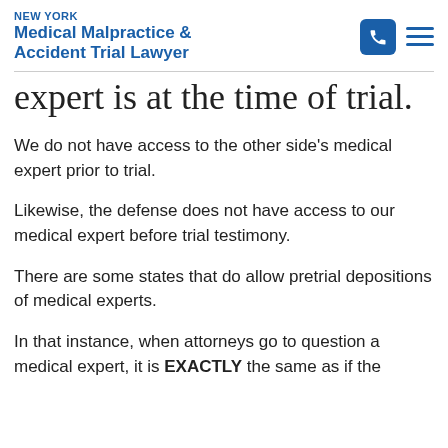NEW YORK Medical Malpractice & Accident Trial Lawyer
expert is at the time of trial.
We do not have access to the other side's medical expert prior to trial.
Likewise, the defense does not have access to our medical expert before trial testimony.
There are some states that do allow pretrial depositions of medical experts.
In that instance, when attorneys go to question a medical expert, it is EXACTLY the same as if the